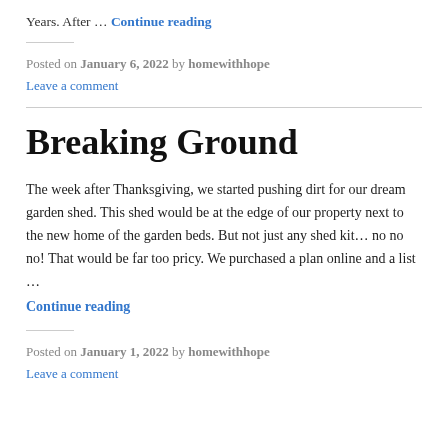Years. After … Continue reading
Posted on January 6, 2022 by homewithhope
Leave a comment
Breaking Ground
The week after Thanksgiving, we started pushing dirt for our dream garden shed. This shed would be at the edge of our property next to the new home of the garden beds. But not just any shed kit… no no no! That would be far too pricy. We purchased a plan online and a list … Continue reading
Posted on January 1, 2022 by homewithhope
Leave a comment